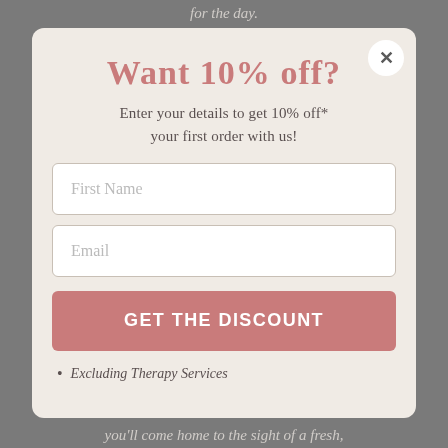for the day.
Want 10% off?
Enter your details to get 10% off* your first order with us!
First Name
Email
GET THE DISCOUNT
Excluding Therapy Services
you'll come home to the sight of a fresh,